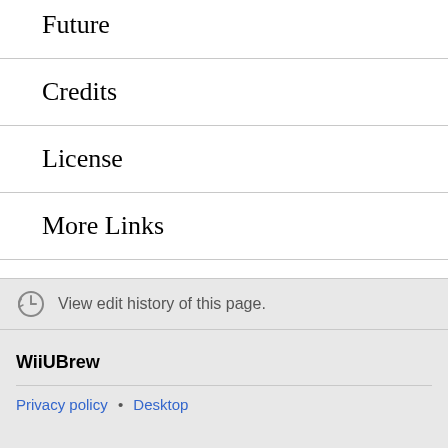Future
Credits
License
More Links
View edit history of this page.
WiiUBrew
Privacy policy • Desktop